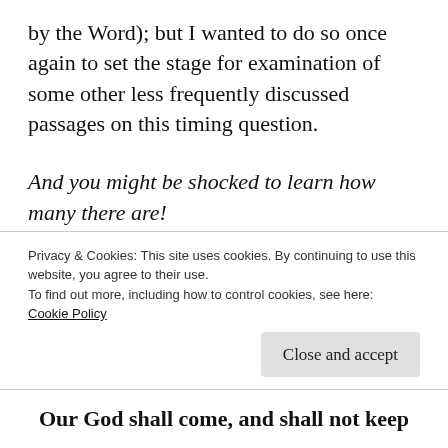by the Word); but I wanted to do so once again to set the stage for examination of some other less frequently discussed passages on this timing question.
And you might be shocked to learn how many there are!
In their efforts to push the notion of a pre-trib rapture as ‘the great mystery God revealed only to the Apostle Paul’ the pre-trib crowd
Privacy & Cookies: This site uses cookies. By continuing to use this website, you agree to their use.
To find out more, including how to control cookies, see here:
Cookie Policy
Our God shall come, and shall not keep